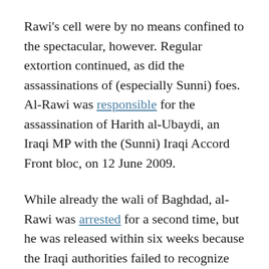Rawi's cell were by no means confined to the spectacular, however. Regular extortion continued, as did the assassinations of (especially Sunni) foes. Al-Rawi was responsible for the assassination of Harith al-Ubaydi, an Iraqi MP with the (Sunni) Iraqi Accord Front bloc, on 12 June 2009.
While already the wali of Baghdad, al-Rawi was arrested for a second time, but he was released within six weeks because the Iraqi authorities failed to recognize him. Additionally, around this time, al-Rawi was married; his wife was soon dead, having committed a suicide-attack.
Al-Rawi was arrested for the third and final time on 11